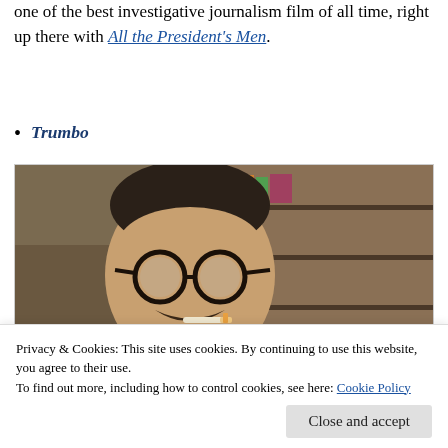one of the best investigative journalism film of all time, right up there with All the President's Men.
Trumbo
[Figure (photo): A man with dark-rimmed glasses and a mustache, a cigarette in his mouth, wearing a blue shirt, sitting in front of a wooden bookcase. This appears to be a still from the film Trumbo.]
Privacy & Cookies: This site uses cookies. By continuing to use this website, you agree to their use.
To find out more, including how to control cookies, see here: Cookie Policy
Close and accept